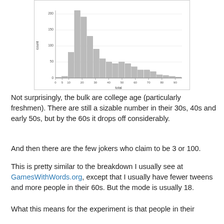[Figure (histogram): ]
Not surprisingly, the bulk are college age (particularly freshmen). There are still a sizable number in their 30s, 40s and early 50s, but by the 60s it drops off considerably.
And then there are the few jokers who claim to be 3 or 100.
This is pretty similar to the breakdown I usually see at GamesWithWords.org, except that I usually have fewer tweens and more people in their 60s. But the mode is usually 18.
What this means for the experiment is that people in their